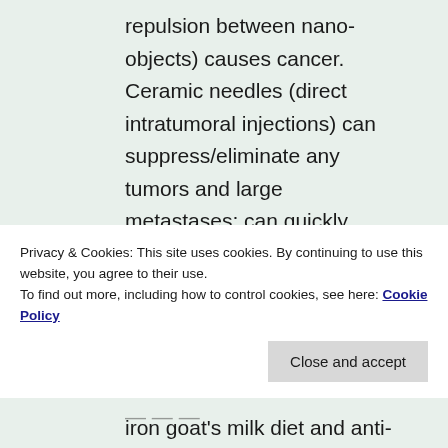repulsion between nano-objects) causes cancer. Ceramic needles (direct intratumoral injections) can suppress/eliminate any tumors and large metastases; can quickly create harmless infiltrations (harmless necroses; deposits of cells that die; benign capsules); can enter solution [sulfur (2%) + olive oil (98%);
Privacy & Cookies: This site uses cookies. By continuing to use this website, you agree to their use.
To find out more, including how to control cookies, see here: Cookie Policy
iron goat's milk diet and anti-